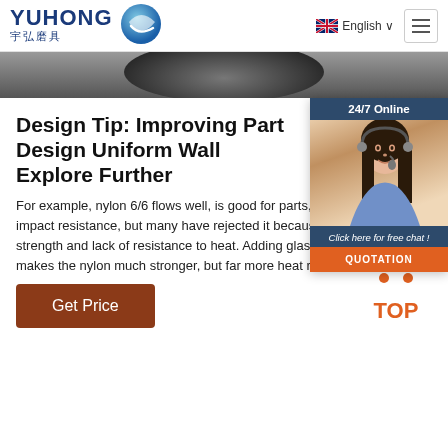[Figure (logo): Yuhong logo with Chinese characters 宇弘磨具 and blue wave icon]
English ∨
[Figure (illustration): Dark circular grinding wheel product hero image]
[Figure (infographic): 24/7 Online chat widget with customer service lady photo, 'Click here for free chat!' text, and QUOTATION button]
Design Tip: Improving Part Design Uniform Wall Explore Further
For example, nylon 6/6 flows well, is good for parts, and has excellent impact resistance, but many have rejected it because of its average strength and lack of resistance to heat. Adding glass-fiber filler not only makes the nylon much stronger, but far more heat resistant.
Get Price
[Figure (illustration): TOP button with upward arrow dots icon]